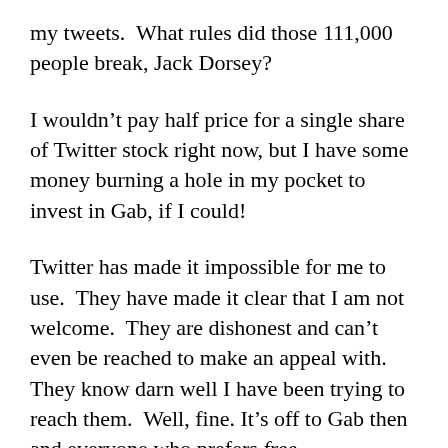my tweets.  What rules did those 111,000 people break, Jack Dorsey?
I wouldn't pay half price for a single share of Twitter stock right now, but I have some money burning a hole in my pocket to invest in Gab, if I could!
Twitter has made it impossible for me to use.  They have made it clear that I am not welcome.  They are dishonest and can't even be reached to make an appeal with.  They know darn well I have been trying to reach them.  Well, fine. It's off to Gab then and everyone who prefers free